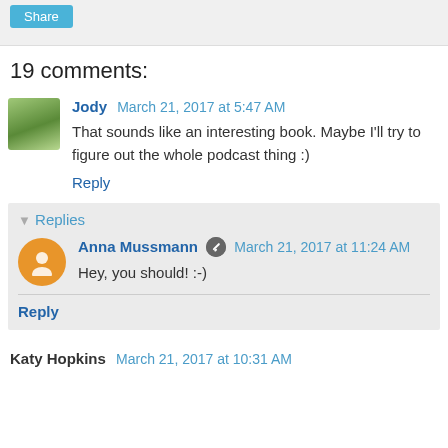Share
19 comments:
Jody  March 21, 2017 at 5:47 AM
That sounds like an interesting book. Maybe I'll try to figure out the whole podcast thing :)
Reply
▼ Replies
Anna Mussmann  March 21, 2017 at 11:24 AM
Hey, you should! :-)
Reply
Katy Hopkins  March 21, 2017 at 10:31 AM